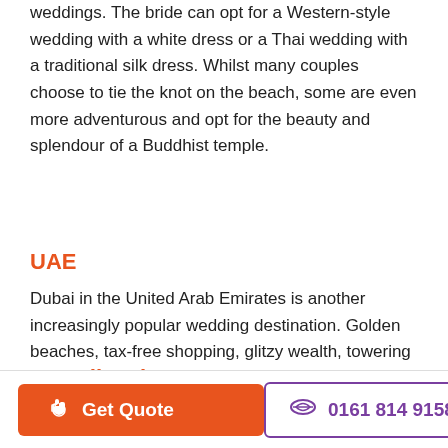weddings. The bride can opt for a Western-style wedding with a white dress or a Thai wedding with a traditional silk dress. Whilst many couples choose to tie the knot on the beach, some are even more adventurous and opt for the beauty and splendour of a Buddhist temple.
UAE
Dubai in the United Arab Emirates is another increasingly popular wedding destination. Golden beaches, tax-free shopping, glitzy wealth, towering skyscrapers and guaranteed heat attract many couples. The hottest months are from May to September, when the temperature often exceeds 40 degrees C.
Scandinavia